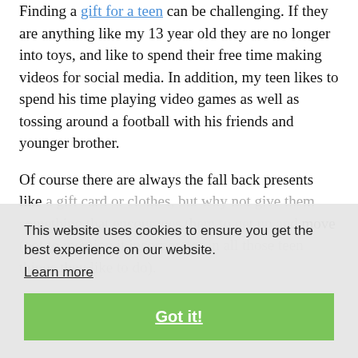Finding a gift for a teen can be challenging. If they are anything like my 13 year old they are no longer into toys, and like to spend their free time making videos for social media. In addition, my teen likes to spend his time playing video games as well as tossing around a football with his friends and younger brother.
Of course there are always the fall back presents like a gift card or clothes, but why not give them something that encourages them to get up and move (not to mention it incorporates in all those teen things they like to do).
This website uses cookies to ensure you get the best experience on our website.
Learn more
Got it!